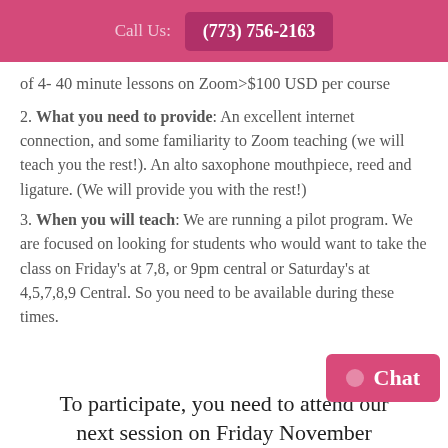Call Us:  (773) 756-2163
of 4- 40 minute lessons on Zoom online = $100 USD per course
2. What you need to provide: An excellent internet connection, and some familiarity to Zoom teaching (we will teach you the rest!). An alto saxophone mouthpiece, reed and ligature. (We will provide you with the rest!)
3. When you will teach: We are running a pilot program. We are focused on looking for students who would want to take the class on Friday's at 7,8, or 9pm central or Saturday's at 4,5,7,8,9 Central. So you need to be available during these times.
To participate, you need to attend our next session on Friday November